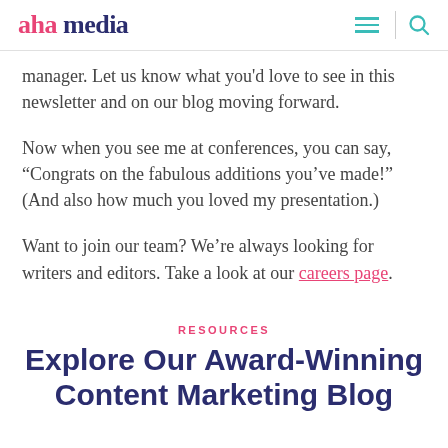aha media
manager. Let us know what you'd love to see in this newsletter and on our blog moving forward.
Now when you see me at conferences, you can say, “Congrats on the fabulous additions you’ve made!” (And also how much you loved my presentation.)
Want to join our team? We’re always looking for writers and editors. Take a look at our careers page.
RESOURCES
Explore Our Award-Winning Content Marketing Blog